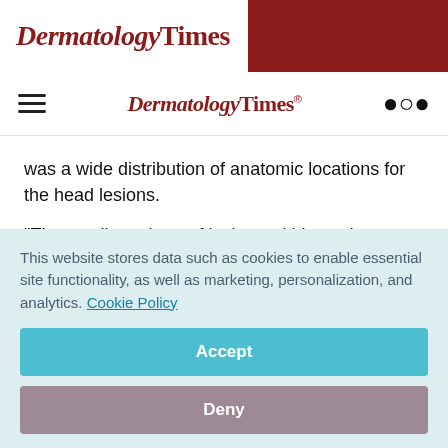DermatologyTimes
DermatologyTimes
was a wide distribution of anatomic locations for the head lesions.
"The small numbers of lesions within each anatomic site is another limitation of our study, and so it is really not possible to comment on potential location-related differences in kinetics" Dr. Marmur says.
This website stores data such as cookies to enable essential site functionality, as well as marketing, personalization, and analytics. Cookie Policy
Accept
Deny